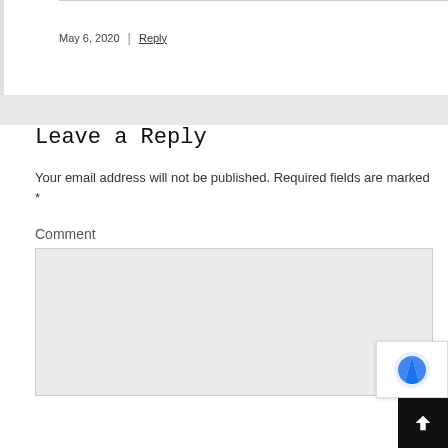May 6, 2020 | Reply
Leave a Reply
Your email address will not be published. Required fields are marked *
Comment
[Figure (screenshot): Empty comment textarea input box with light grey background]